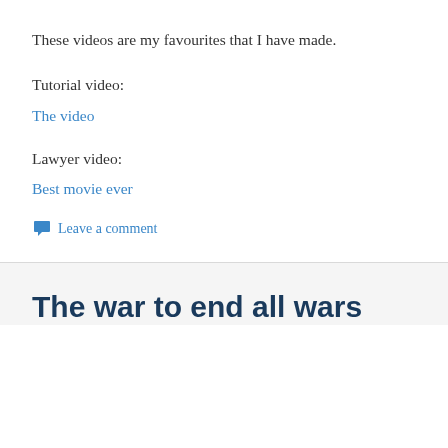These videos are my favourites that I have made.
Tutorial video:
The video
Lawyer video:
Best movie ever
Leave a comment
The war to end all wars